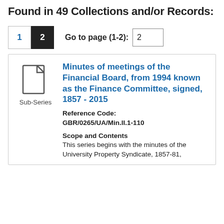Found in 49 Collections and/or Records:
1  2   Go to page (1-2): 2
Sub-Series
Minutes of meetings of the Financial Board, from 1994 known as the Finance Committee, signed, 1857 - 2015
Reference Code: GBR/0265/UA/Min.II.1-110
Scope and Contents
This series begins with the minutes of the University Property Syndicate, 1857-81,